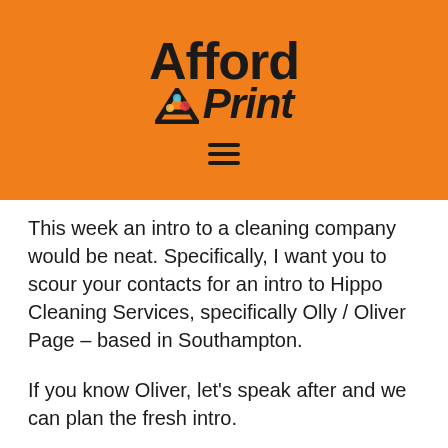[Figure (logo): AffordAPrint logo on orange background with hamburger menu icon]
This week an intro to a cleaning company would be neat. Specifically, I want you to scour your contacts for an intro to Hippo Cleaning Services, specifically Olly / Oliver Page – based in Southampton.
If you know Oliver, let's speak after and we can plan the fresh intro.
Why refer business to me? because we wipe the floor compared to our competition. This is because our customer reviews have swept us to the number